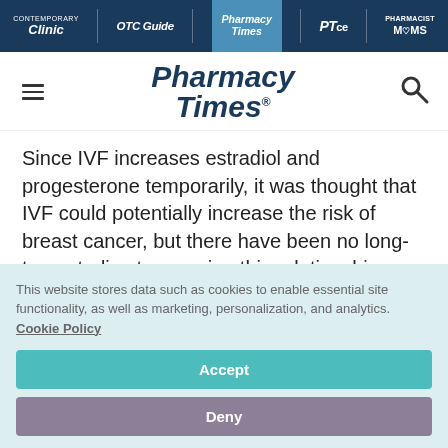Contemporary Clinic | OTC Guide | Pharmacy Times | PTce | Pharmacist Moms
[Figure (logo): Pharmacy Times logo with hamburger menu and search icon]
Since IVF increases estradiol and progesterone temporarily, it was thought that IVF could potentially increase the risk of breast cancer, but there have been no long-term studies to examine this relationship. Researchers in the
This website stores data such as cookies to enable essential site functionality, as well as marketing, personalization, and analytics. Cookie Policy
Accept
Deny